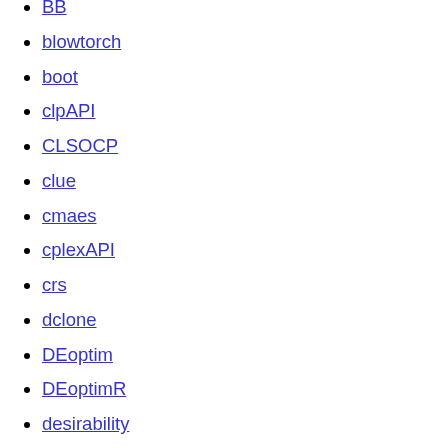BB
blowtorch
boot
clpAPI
CLSOCP
clue
cmaes
cplexAPI
crs
dclone
DEoptim
DEoptimR
desirability
dfoptim
GA
genalg
GenSA
globalOptTests
glpkAPI
goalprog
GrassmannOptim
gsl
hydroPSO
igraph
irace
isotone